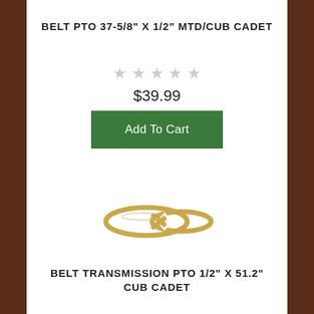BELT PTO 37-5/8" X 1/2" MTD/CUB CADET
★★★★★
$39.99
Add To Cart
[Figure (photo): Gold-colored PTO belt coiled in a figure-eight shape]
BELT TRANSMISSION PTO 1/2" X 51.2" CUB CADET